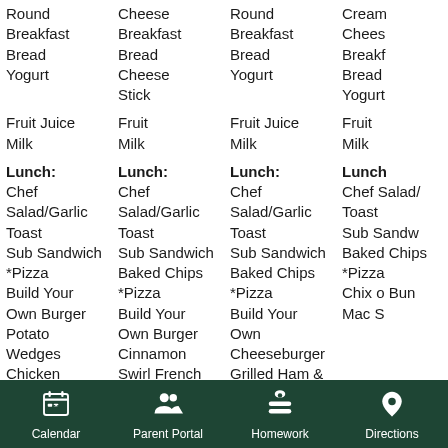| Col1 | Col2 | Col3 | Col4 |
| --- | --- | --- | --- |
| Round
Breakfast
Bread
Yogurt | Cheese
Breakfast
Bread
Cheese
Stick | Round
Breakfast
Bread
Yogurt | Cream
Chees
Breakf
Bread
Yogurt |
| Fruit Juice
Milk | Fruit
Milk | Fruit Juice
Milk | Fruit
Milk |
| Lunch:
Chef Salad/Garlic Toast
Sub Sandwich
*Pizza
Build Your Own Burger
Potato Wedges
Chicken
Drumstick | Lunch:
Chef Salad/Garlic Toast
Sub Sandwich
Baked Chips
*Pizza
Build Your Own Burger
Cinnamon
Swirl French | Lunch:
Chef Salad/Garlic Toast
Sub Sandwich
Baked Chips
*Pizza
Build Your Own Cheeseburger
Grilled Ham &
Cheese
Baked Chips | Lunch
Chef
Salad/
Toast
Sub
Sandw
Baked
Chips
*Pizza
Chix o
Bun
Mac S |
Calendar  Parent Portal  Homework  Directions